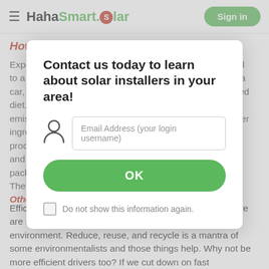HahaSmart.Solar — Sign in
How do I reduce my carbon footprint?
Experts generally agree that four actions are most critical to a cleaner planet: having fewer children, living without a car, avoiding transatlantic flights, and eating a plant-based diet. For example, if you eat a hamburger, you add the emissions associated with raising cattle and growing other ingredients, as well as those that result from the production, transportation, and storage of patties, buns and more. Food emissions also include those created by packaging, waste and to your personal carbon footprint. The cumulative effect can be significant.
[Figure (screenshot): Modal dialog: Contact us today to learn about solar installers in your area! with email address input, OK button, and Do not show this information again checkbox]
Efficiency is another key to slowing global warming. There are some easy steps we can all take to help the environment. Reduce, reuse, and recycle is a mantra of some environmentalists and those things help. Why not be more efficient drivers too? If we cut down on fast